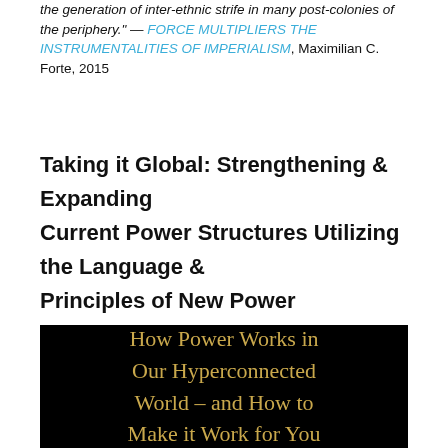the generation of inter-ethnic strife in many post-colonies of the periphery." — FORCE MULTIPLIERS THE INSTRUMENTALITIES OF IMPERIALISM, Maximilian C. Forte, 2015
Taking it Global: Strengthening & Expanding Current Power Structures Utilizing the Language & Principles of New Power
[Figure (illustration): Black background image with gold/yellow text reading: How Power Works in Our Hyperconnected World – and How to Make it Work for You]